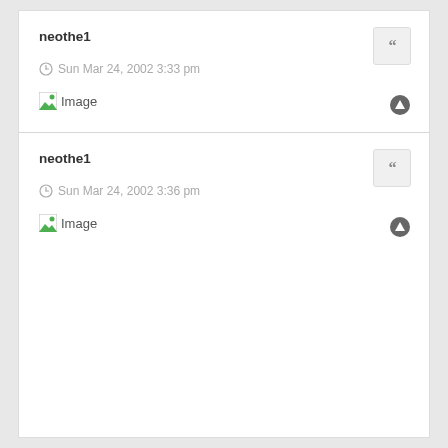neothe1
Sun Mar 24, 2002 3:33 pm
[Figure (other): Broken image placeholder with green/white icon and text 'Image']
neothe1
Sun Mar 24, 2002 3:36 pm
[Figure (other): Broken image placeholder with green/white icon and text 'Image']